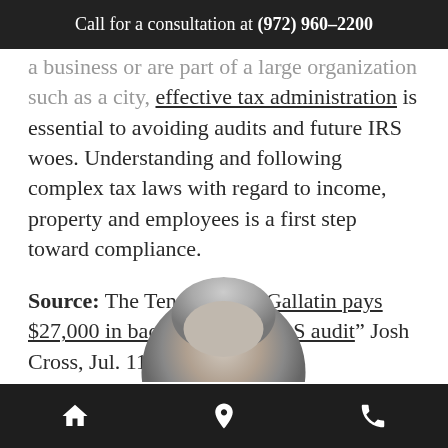Call for a consultation at (972) 960-2200
a business or are part of a large organization such as a city, effective tax administration is essential to avoiding audits and future IRS woes. Understanding and following complex tax laws with regard to income, property and employees is a first step toward compliance.
Source: The Tennessean, “Gallatin pays $27,000 in back taxes after IRS audit” Josh Cross, Jul. 11, 2014
[Figure (photo): Circular portrait photo of a person with grey/silver hair, cropped at bottom of page]
Home | Location | Phone navigation icons